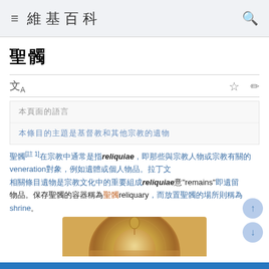維基百科
聖髑
文A [language icon toolbar]
本頁面的語言
本條目的主題是基督教和其他宗教的遺物
聖髑[1] 在宗教中通常是指reliquiae，即那些與宗教人物或宗教有關的veneration對象，例如遺體或個人物品。拉丁文reliquiae意為"remains"，即遺留物。保存聖髑的容器稱為reliquary，而放置聖髑的場所則稱為shrine。
[Figure (photo): A circular wooden religious artifact or reliquary in warm golden-brown tones]